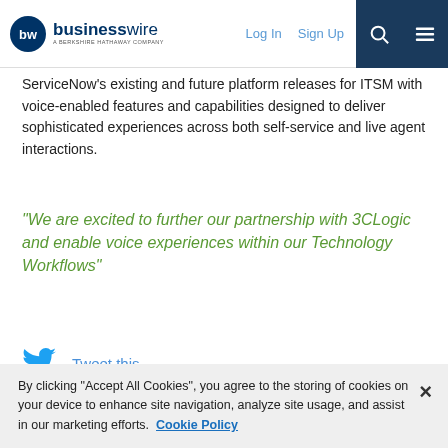businesswire — A Berkshire Hathaway Company | Log In | Sign Up
ServiceNow's existing and future platform releases for ITSM with voice-enabled features and capabilities designed to deliver sophisticated experiences across both self-service and live agent interactions.
“We are excited to further our partnership with 3CLogic and enable voice experiences within our Technology Workflows”
Tweet this
A ServiceNow Premier Technology Partner, 3CLogic has seen strong demand for its voice and SMS capabilities from ServiceNow
By clicking “Accept All Cookies”, you agree to the storing of cookies on your device to enhance site navigation, analyze site usage, and assist in our marketing efforts. Cookie Policy